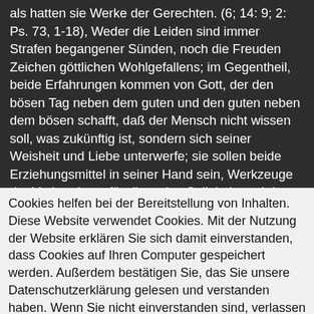als hatten sie Werke der Gerechten. (6; 14: 9; 2: Ps. 73, 1-18), Weder die Leiden sind immer Strafen begangener Sünden, noch die Freuden Zeichen göttlichen Wohlgefallens; im Gegentheil, beide Erfahrungen kommen von Gott, der den bösen Tag neben dem guten und den guten neben dem bösen schafft, daß der Mensch nicht wissen soll, was zukünftig ist, sondern sich seiner Weisheit und Liebe unterwerfe; sie sollen beide Erziehungsmittel in seiner Hand sein, Werkzeuge der Vorbereitung für die ewige Seligkeit, und das Ende erst, der Ausgang, das Ziel wird offenbaren, wie weise und gnädig Gott uns geführt, wie gut es war, daß wir gerade diesen und keinen andern Weg einschlugen, und wie
Cookies helfen bei der Bereitstellung von Inhalten. Diese Website verwendet Cookies. Mit der Nutzung der Website erklären Sie sich damit einverstanden, dass Cookies auf Ihren Computer gespeichert werden. Außerdem bestätigen Sie, das Sie unsere Datenschutzerklärung gelesen und verstanden haben. Wenn Sie nicht einverstanden sind, verlassen Sie die Website. OK Weitere Information